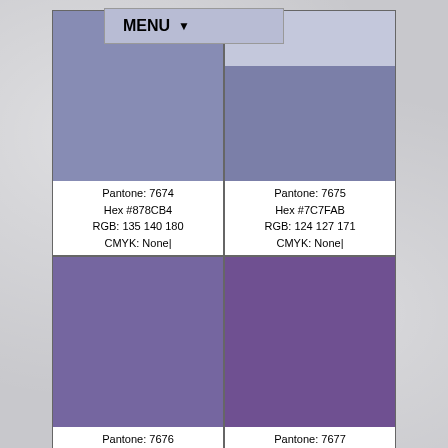[Figure (other): MENU dropdown button with dark arrow]
Pantone: 7674
Hex #878CB4
RGB: 135 140 180
CMYK: None|
Pantone: 7675
Hex #7C7FAB
RGB: 124 127 171
CMYK: None|
Pantone: 7676
Hex #7566A0
RGB: 117 102 160
CMYK: None|
Pantone: 7677
Hex #6F5091
RGB: 111 80 145
CMYK: None|
Pantone: 7678
Pantone: 7679